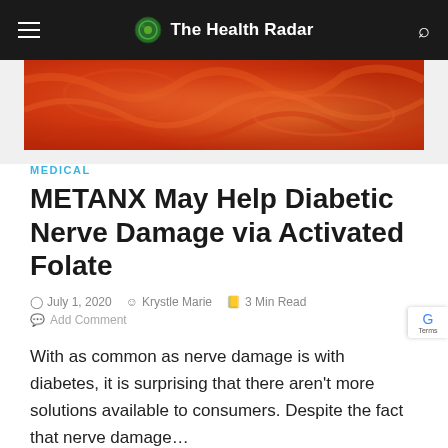The Health Radar
[Figure (photo): Orange abstract neural/fractal pattern image used as article hero image]
MEDICAL
METANX May Help Diabetic Nerve Damage via Activated Folate
July 1, 2020  Krystle Marie  3 Min Read  Add Comment
With as common as nerve damage is with diabetes, it is surprising that there aren't more solutions available to consumers. Despite the fact that nerve damage…
[Figure (photo): Partial image at bottom of page, appears to show brown food or natural substance]